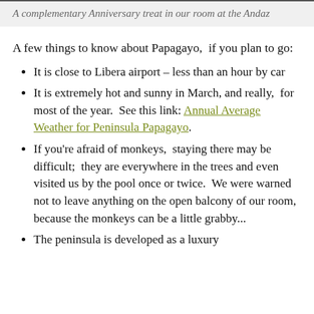A complementary Anniversary treat in our room at the Andaz
A few things to know about Papagayo,  if you plan to go:
It is close to Libera airport – less than an hour by car
It is extremely hot and sunny in March, and really,  for most of the year.  See this link: Annual Average Weather for Peninsula Papagayo.
If you're afraid of monkeys,  staying there may be difficult;  they are everywhere in the trees and even visited us by the pool once or twice.  We were warned not to leave anything on the open balcony of our room, because the monkeys can be a little grabby...
The peninsula is developed as a luxury